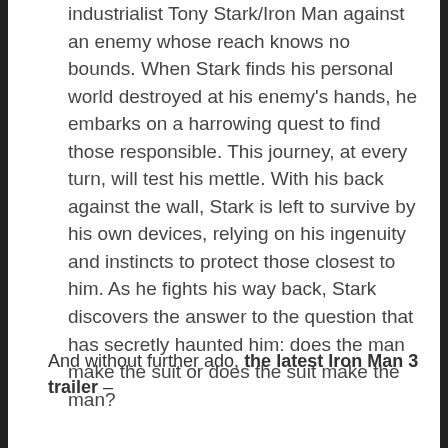industrialist Tony Stark/Iron Man against an enemy whose reach knows no bounds. When Stark finds his personal world destroyed at his enemy's hands, he embarks on a harrowing quest to find those responsible. This journey, at every turn, will test his mettle. With his back against the wall, Stark is left to survive by his own devices, relying on his ingenuity and instincts to protect those closest to him. As he fights his way back, Stark discovers the answer to the question that has secretly haunted him: does the man make the suit or does the suit make the man?
And without further ado, the latest Iron Man 3 trailer –